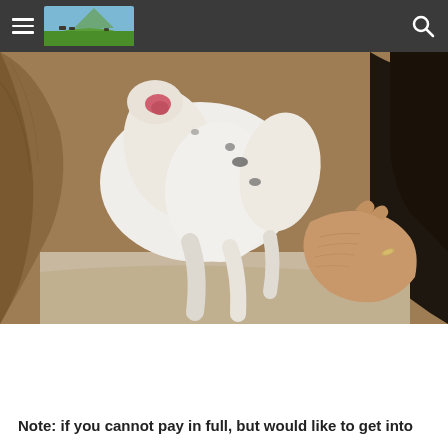Navigation bar with hamburger menu, logo image, and search icon
[Figure (photo): Close-up photo of newborn white puppies nursing, surrounded by dogs with brown and black fur. A human hand wearing a ring is visible on the right side.]
Note: if you cannot pay in full, but would like to get into